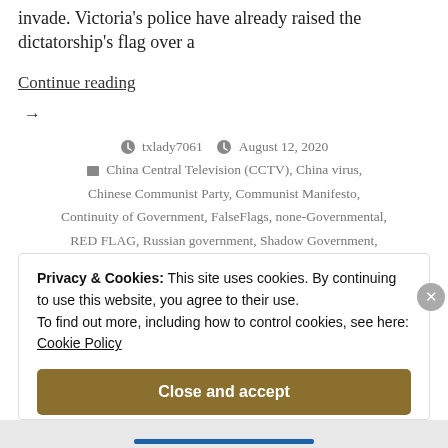invade. Victoria's police have already raised the dictatorship's flag over a
Continue reading →
txlady7061  August 12, 2020
China Central Television (CCTV), China virus, Chinese Communist Party, Communist Manifesto, Continuity of Government, FalseFlags, none-Governmental, RED FLAG, Russian government, Shadow Government, Uncategorized
Privacy & Cookies: This site uses cookies. By continuing to use this website, you agree to their use.
To find out more, including how to control cookies, see here: Cookie Policy
Close and accept